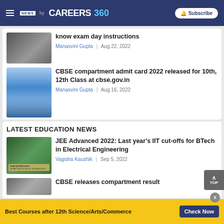NEWS by CAREERS360 | Subscribe
know exam day instructions
Manasvini Gupta | Aug 22, 2022
CBSE compartment admit card 2022 released for 10th, 12th Class at cbse.gov.in
Manasvini Gupta | Aug 16, 2022
LATEST EDUCATION NEWS
JEE Advanced 2022: Last year's IIT cut-offs for BTech in Electrical Engineering
Vagisha Kaushik | Sep 5, 2022
CBSE releases compartment result
Best Courses after 12th Science/Arts/Commerce
Check Now